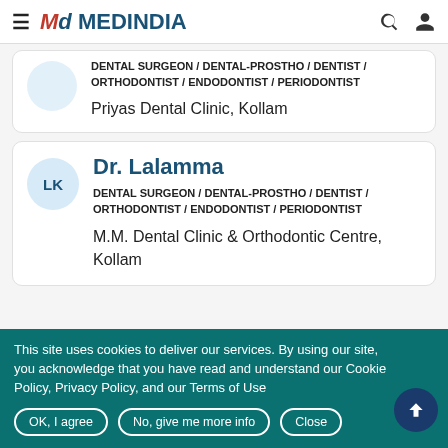MedIndia
DENTAL SURGEON / DENTAL-PROSTHO / DENTIST / ORTHODONTIST / ENDODONTIST / PERIODONTIST
Priyas Dental Clinic, Kollam
Dr. Lalamma
DENTAL SURGEON / DENTAL-PROSTHO / DENTIST / ORTHODONTIST / ENDODONTIST / PERIODONTIST
M.M. Dental Clinic & Orthodontic Centre, Kollam
This site uses cookies to deliver our services. By using our site, you acknowledge that you have read and understand our Cookie Policy, Privacy Policy, and our Terms of Use